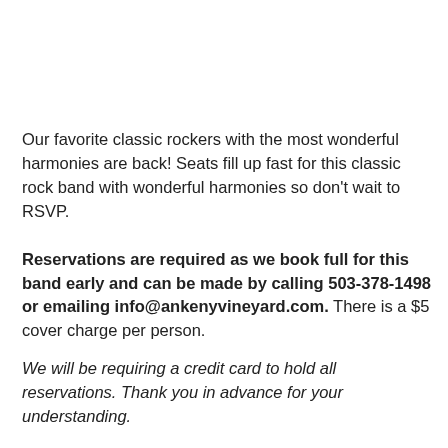Our favorite classic rockers with the most wonderful harmonies are back! Seats fill up fast for this classic rock band with wonderful harmonies so don't wait to RSVP. Reservations are required as we book full for this band early and can be made by calling 503-378-1498 or emailing info@ankenyvineyard.com. There is a $5 cover charge per person.
We will be requiring a credit card to hold all reservations. Thank you in advance for your understanding.
Tags: live music, music, oregon, oregon vineyard, oregon wine, oregon winery, wine, wine tasting, winery